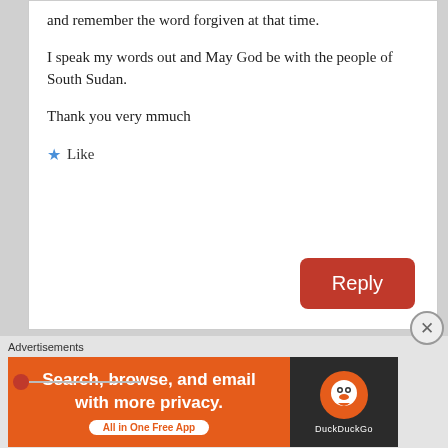and remember the word forgiven at that time.
I speak my words out and May God be with the people of South Sudan.
Thank you very mmuch
★ Like
Reply
woken
June 3, 2015 at 2:23 am
Defeating Juba is a song you will be
Advertisements
[Figure (infographic): DuckDuckGo advertisement banner: 'Search, browse, and email with more privacy. All in One Free App' with DuckDuckGo logo on dark background]